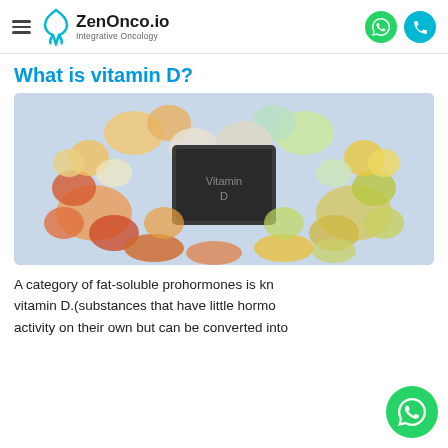ZenOnco.io — Integrative Oncology
What is vitamin D?
[Figure (photo): Heart-shaped arrangement of various foods and a chalkboard sign in the center, representing vitamin D sources and nutrition.]
A category of fat-soluble prohormones is known as vitamin D.(substances that have little hormonal activity on their own but can be converted into